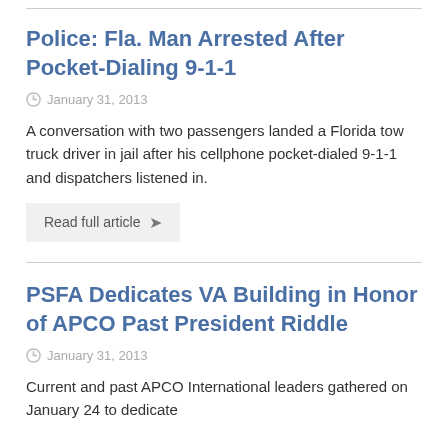Police: Fla. Man Arrested After Pocket-Dialing 9-1-1
January 31, 2013
A conversation with two passengers landed a Florida tow truck driver in jail after his cellphone pocket-dialed 9-1-1 and dispatchers listened in.
Read full article
PSFA Dedicates VA Building in Honor of APCO Past President Riddle
January 31, 2013
Current and past APCO International leaders gathered on January 24 to dedicate